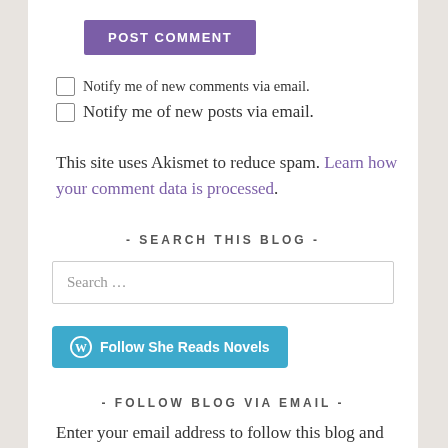POST COMMENT
Notify me of new comments via email.
Notify me of new posts via email.
This site uses Akismet to reduce spam. Learn how your comment data is processed.
- SEARCH THIS BLOG -
Search …
[Figure (other): Follow She Reads Novels button with WordPress icon]
- FOLLOW BLOG VIA EMAIL -
Enter your email address to follow this blog and receive